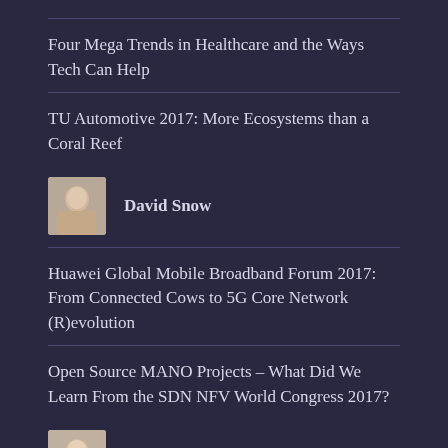Four Mega Trends in Healthcare and the Ways Tech Can Help
TU Automotive 2017: More Ecosystems than a Coral Reef
David Snow
Huawei Global Mobile Broadband Forum 2017: From Connected Cows to 5G Core Network (R)evolution
Open Source MANO Projects – What Did We Learn From the SDN NFV World Congress 2017?
Ron Westfall